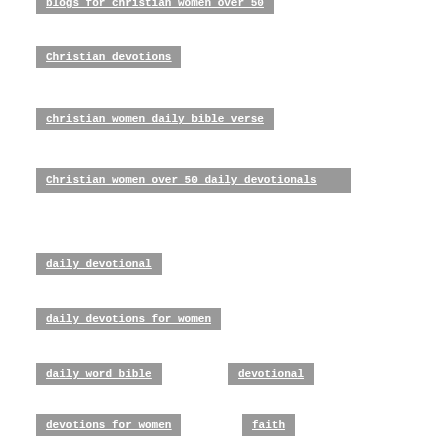blogs for christian women over 50
Christian devotions
christian women daily bible verse
Christian women over 50 daily devotionals
daily devotional
daily devotions for women
daily word bible
devotional
devotions for women
faith
free bible study
Free bible study for women over 50
Grace for women over 50
Living Better 50
LivingBetter50
love
morning devotions
online bible study